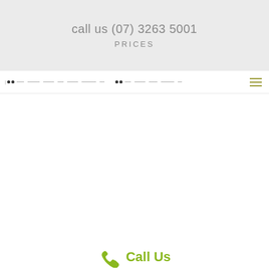call us (07) 3263 5001
PRICES
[Figure (screenshot): Navigation bar with dots and dashes pattern and hamburger menu icon on the right]
Call Us